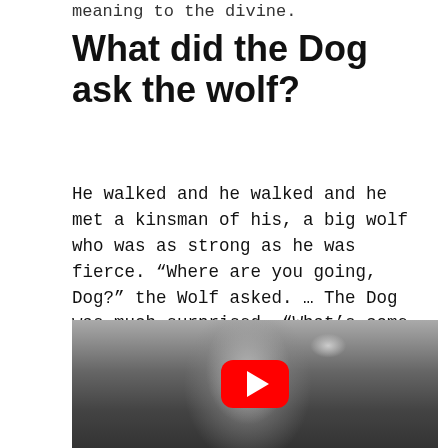meaning to the divine.
What did the Dog ask the wolf?
He walked and he walked and he met a kinsman of his, a big wolf who was as strong as he was fierce. “Where are you going, Dog?” the Wolf asked. … The Dog was much surprised. “What’s come over you, master?” he asked.
[Figure (photo): Black and white photograph of a man looking upward, with trees visible in the background. A red YouTube play button overlay is centered on the image.]